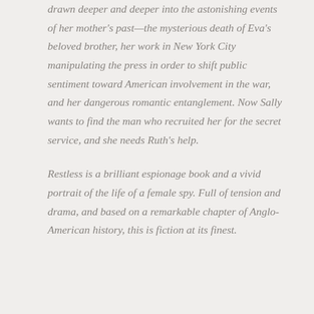drawn deeper and deeper into the astonishing events of her mother's past—the mysterious death of Eva's beloved brother, her work in New York City manipulating the press in order to shift public sentiment toward American involvement in the war, and her dangerous romantic entanglement. Now Sally wants to find the man who recruited her for the secret service, and she needs Ruth's help.
Restless is a brilliant espionage book and a vivid portrait of the life of a female spy. Full of tension and drama, and based on a remarkable chapter of Anglo-American history, this is fiction at its finest.